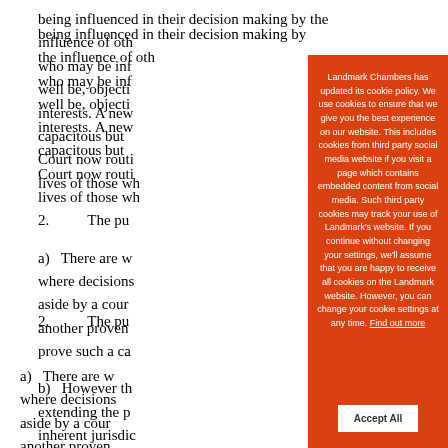being influenced in their decision making by the influence of oth… who may be inf… well be, objecti… interests. A new… capacitous but… Court now routi… lives of those wh…
2.  The pu…
a)  There are w… where decisions… aside by a cour… another proven… prove such a ca…
b)  However th… extending the p… inherent jurisdic… vulnerable person is making unwise decisions but there…
[Figure (screenshot): Cookie consent popup overlay from Landmark Chambers website. Orange background with white text reading: 'Landmark Chambers has updated its cookie policy. We use cookies to ensure that we give you the best experience on our website. This includes cookies from third party social media website if you visit a page which contains embedded content from social media. Such third party cookies may track your use of Landmark's website. If you continue without changing your settings, we'll assume that you are happy to receive all cookies on the Landmark website. However, you can change your cookie settings at any time. Find out more' with a white 'Accept All' button at the bottom.]